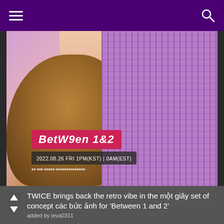[Figure (photo): K-pop promotional photo showing a person in purple/black tweed outfit holding a golden-brown stuffed dog/puppy toy, with a pink clock in background. Overlay text reads 'BetW9en 1&2' in white on pink/red background, and date '2022.08.26 FRI 1PM(KST) | 0AM(EST)']
TWICE brings back the retro vibe in the một giây set of concept các bức ảnh for 'Between 1 and 2'
added by leva0311